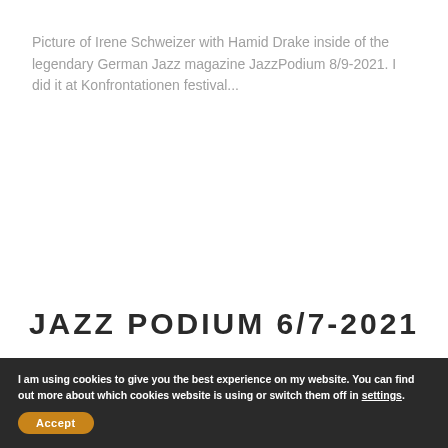Picture of Irene Schweizer with Hamid Drake inside of the legendary German Jazz magazine JazzPodium 8/9-2021. I did it at Konfrontationen festival...
READ FULL STORY
JAZZ PODIUM 6/7-2021
I am using cookies to give you the best experience on my website. You can find out more about which cookies website is using or switch them off in settings.
Accept